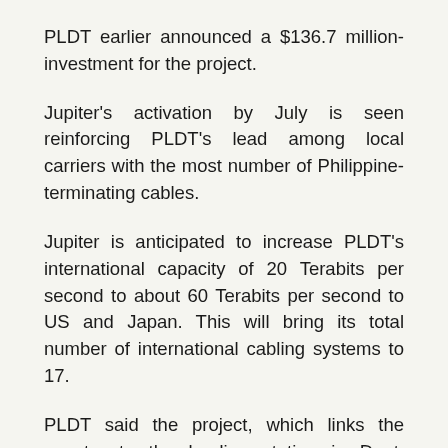PLDT earlier announced a $136.7 million-investment for the project.
Jupiter's activation by July is seen reinforcing PLDT's lead among local carriers with the most number of Philippine-terminating cables.
Jupiter is anticipated to increase PLDT's international capacity of 20 Terabits per second to about 60 Terabits per second to US and Japan. This will bring its total number of international cabling systems to 17.
PLDT said the project, which links the country to the landing station in Daet, Camarines Norte, will further enhance customer experience and greatly boost its extensive fiber network.